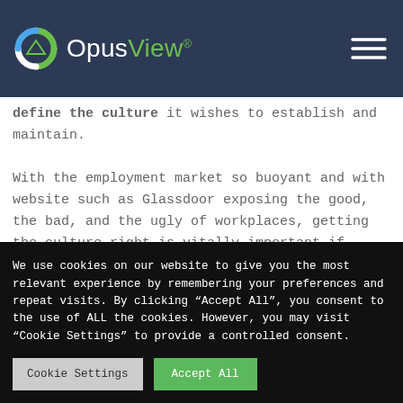OpusView
define the culture it wishes to establish and maintain.

With the employment market so buoyant and with website such as Glassdoor exposing the good, the bad, and the ugly of workplaces, getting the culture right is vitally important if businesses are to attract and retain talented
We use cookies on our website to give you the most relevant experience by remembering your preferences and repeat visits. By clicking “Accept All”, you consent to the use of ALL the cookies. However, you may visit "Cookie Settings" to provide a controlled consent.